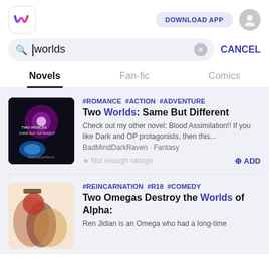DOWNLOAD APP
worlds
CANCEL
Novels	Fan-fic	Comics
#ROMANCE #ACTION #ADVENTURE
Two Worlds: Same But Different
Check out my other novel: Blood Assimilation!! If you like Dark and OP protagonists, then this...
BadMindDarkRaven · Fantasy
★ Not enough ratings
⊕ ADD
#REINCARNATION #R18 #COMEDY
Two Omegas Destroy the Worlds of Alpha:
Ren Jidian is an Omega who had a long-time